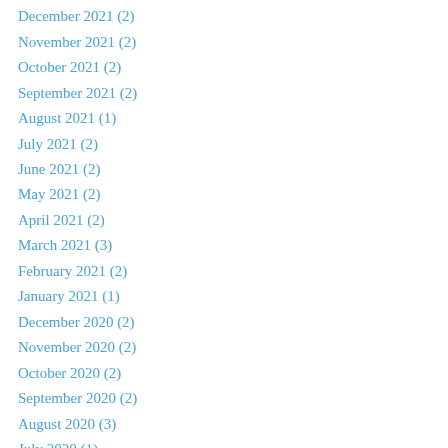December 2021 (2)
November 2021 (2)
October 2021 (2)
September 2021 (2)
August 2021 (1)
July 2021 (2)
June 2021 (2)
May 2021 (2)
April 2021 (2)
March 2021 (3)
February 2021 (2)
January 2021 (1)
December 2020 (2)
November 2020 (2)
October 2020 (2)
September 2020 (2)
August 2020 (3)
July 2020 (1)
June 2020 (2)
May 2020 (2)